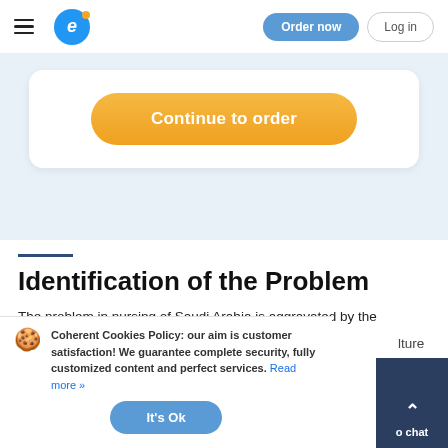Order now  Log in
Continue to order
Identification of the Problem
The problem in nursing of Saudi Arabia is aggravated by the culture s and d the
Coherent Cookies Policy: our aim is customer satisfaction! We guarantee complete security, fully customized content and perfect services. Read more »
It's Ok
o chat